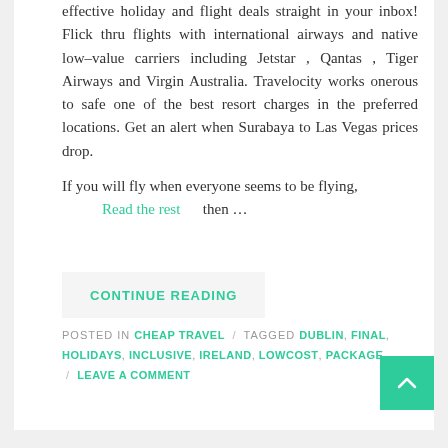effective holiday and flight deals straight in your inbox! Flick thru flights with international airways and native low-value carriers including Jetstar , Qantas , Tiger Airways and Virgin Australia. Travelocity works onerous to safe one of the best resort charges in the preferred locations. Get an alert when Surabaya to Las Vegas prices drop.
If you will fly when everyone seems to be flying, Read the rest then …
CONTINUE READING
POSTED IN CHEAP TRAVEL / TAGGED DUBLIN, FINAL, HOLIDAYS, INCLUSIVE, IRELAND, LOWCOST, PACKAGE / LEAVE A COMMENT